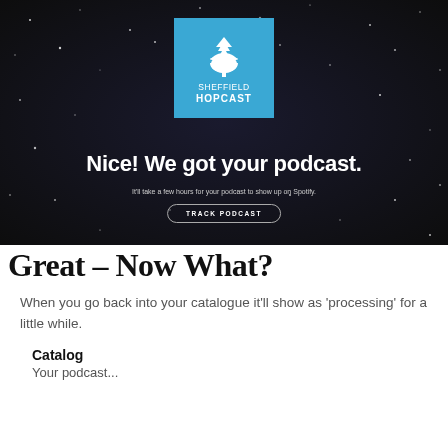[Figure (screenshot): Screenshot of Spotify podcast submission confirmation page showing Sheffield Hopcast logo on dark starry background with text 'Nice! We got your podcast.' and 'It'll take a few hours for your podcast to show up on Spotify.' and a 'TRACK PODCAST' button.]
Great – Now What?
When you go back into your catalogue it'll show as 'processing' for a little while.
Catalog
Your podcast...